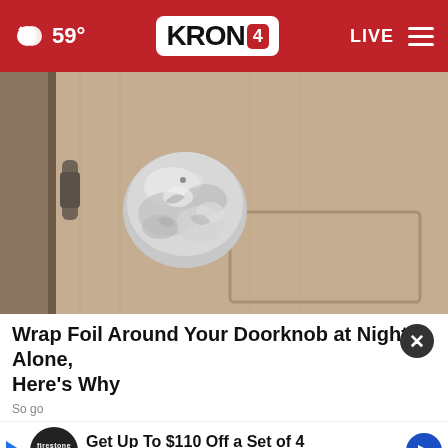59° KRON 4 LIVE
[Figure (photo): A door knob wrapped in aluminum foil on a light brown wood-grain interior door]
Wrap Foil Around Your Doorknob at Night if Alone, Here's Why
So go...
[Figure (infographic): Advertisement: Get Up To $110 Off a Set of 4 Select Firestone Tires — Firestone Auto logo with play button and navigation arrow]